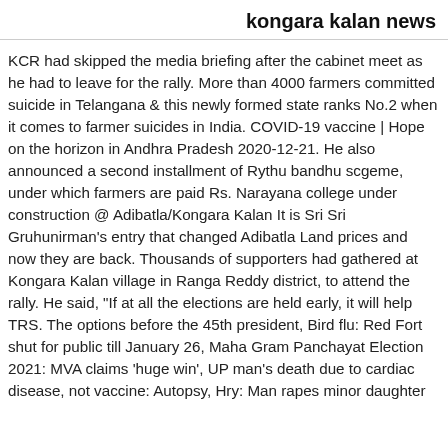kongara kalan news
KCR had skipped the media briefing after the cabinet meet as he had to leave for the rally. More than 4000 farmers committed suicide in Telangana & this newly formed state ranks No.2 when it comes to farmer suicides in India. COVID-19 vaccine | Hope on the horizon in Andhra Pradesh 2020-12-21. He also announced a second installment of Rythu bandhu scgeme, under which farmers are paid Rs. Narayana college under construction @ Adibatla/Kongara Kalan It is Sri Sri Gruhunirman's entry that changed Adibatla Land prices and now they are back. Thousands of supporters had gathered at Kongara Kalan village in Ranga Reddy district, to attend the rally. He said, "If at all the elections are held early, it will help TRS. The options before the 45th president, Bird flu: Red Fort shut for public till January 26, Maha Gram Panchayat Election 2021: MVA claims 'huge win', UP man's death due to cardiac disease, not vaccine: Autopsy, Hry: Man rapes minor daughter